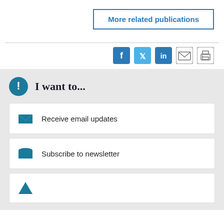More related publications
[Figure (infographic): Social sharing icons: Facebook, Twitter, LinkedIn, Email, Print]
I want to...
Receive email updates
Subscribe to newsletter
(partial, cut off at bottom)